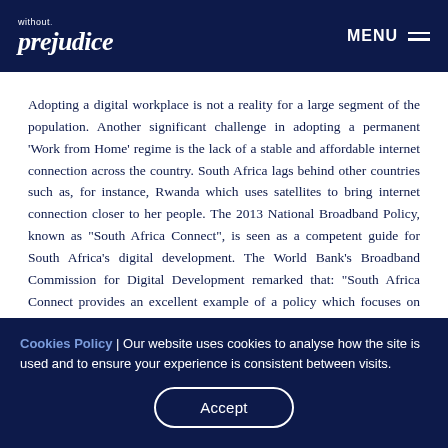without prejudice | MENU
Adopting a digital workplace is not a reality for a large segment of the population. Another significant challenge in adopting a permanent 'Work from Home' regime is the lack of a stable and affordable internet connection across the country. South Africa lags behind other countries such as, for instance, Rwanda which uses satellites to bring internet connection closer to her people. The 2013 National Broadband Policy, known as "South Africa Connect", is seen as a competent guide for South Africa's digital development. The World Bank's Broadband Commission for Digital Development remarked that: "South Africa Connect provides an excellent example of a policy which focuses on both supply-side and demand-side considerations". But a number
Cookies Policy | Our website uses cookies to analyse how the site is used and to ensure your experience is consistent between visits.